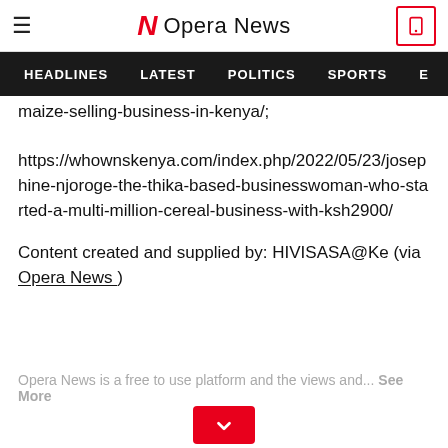Opera News
HEADLINES  LATEST  POLITICS  SPORTS
maize-selling-business-in-kenya/; https://whownskenya.com/index.php/2022/05/23/josephine-njoroge-the-thika-based-businesswoman-who-started-a-multi-million-cereal-business-with-ksh2900/
Content created and supplied by: HIVISASA@Ke (via Opera News )
Opera News is a free to use platform and the views and... See More